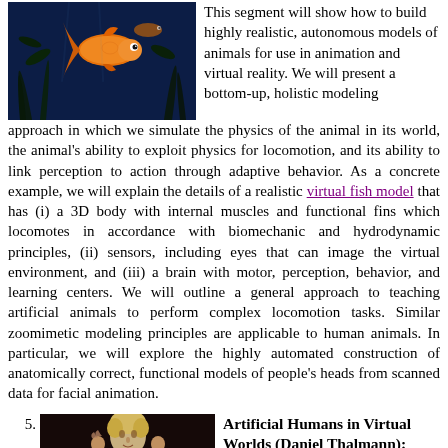[Figure (photo): Underwater scene with a 3D animated fish (goldfish-like) swimming among dark aquatic plants on a deep blue background.]
This segment will show how to build highly realistic, autonomous models of animals for use in animation and virtual reality. We will present a bottom-up, holistic modeling approach in which we simulate the physics of the animal in its world, the animal's ability to exploit physics for locomotion, and its ability to link perception to action through adaptive behavior. As a concrete example, we will explain the details of a realistic virtual fish model that has (i) a 3D body with internal muscles and functional fins which locomotes in accordance with biomechanic and hydrodynamic principles, (ii) sensors, including eyes that can image the virtual environment, and (iii) a brain with motor, perception, behavior, and learning centers. We will outline a general approach to teaching artificial animals to perform complex locomotion tasks. Similar zoomimetic modeling principles are applicable to human animals. In particular, we will explore the highly automated construction of anatomically correct, functional models of people's heads from scanned data for facial animation.
5. Artificial Humans in Virtual Worlds (Daniel Thalmann): This segment of the course comprises an in-depth investigation...
[Figure (photo): A 3D rendered human figure (a person with light-colored hair) in a crouching or expressive pose against a dark background.]